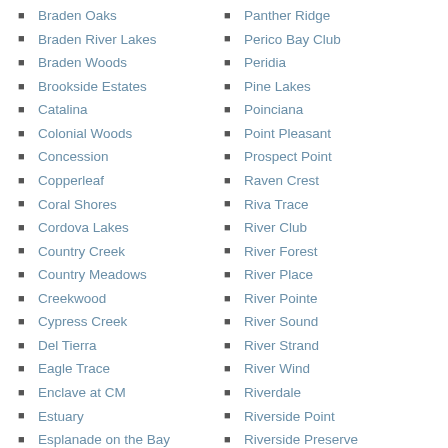Braden Oaks
Braden River Lakes
Braden Woods
Brookside Estates
Catalina
Colonial Woods
Concession
Copperleaf
Coral Shores
Cordova Lakes
Country Creek
Country Meadows
Creekwood
Cypress Creek
Del Tierra
Eagle Trace
Enclave at CM
Estuary
Esplanade on the Bay
Estuary
Fairfield
Panther Ridge
Perico Bay Club
Peridia
Pine Lakes
Poinciana
Point Pleasant
Prospect Point
Raven Crest
Riva Trace
River Club
River Forest
River Place
River Pointe
River Sound
River Strand
River Wind
Riverdale
Riverside Point
Riverside Preserve
Riverview Landings
Roseledale